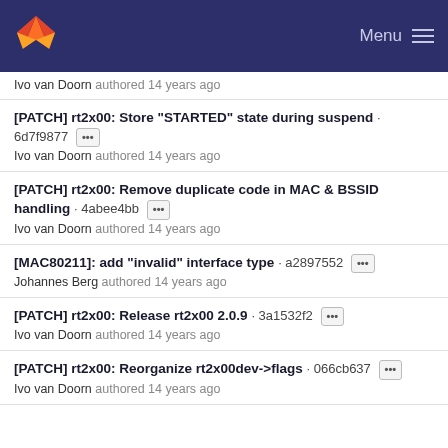GitLab — Menu
Ivo van Doorn authored 14 years ago
[PATCH] rt2x00: Store "STARTED" state during suspend · 6d7f9877 ··· Ivo van Doorn authored 14 years ago
[PATCH] rt2x00: Remove duplicate code in MAC & BSSID handling · 4abee4bb ··· Ivo van Doorn authored 14 years ago
[MAC80211]: add "invalid" interface type · a2897552 ··· Johannes Berg authored 14 years ago
[PATCH] rt2x00: Release rt2x00 2.0.9 · 3a1532f2 ··· Ivo van Doorn authored 14 years ago
[PATCH] rt2x00: Reorganize rt2x00dev->flags · 066cb637 ··· Ivo van Doorn authored 14 years ago